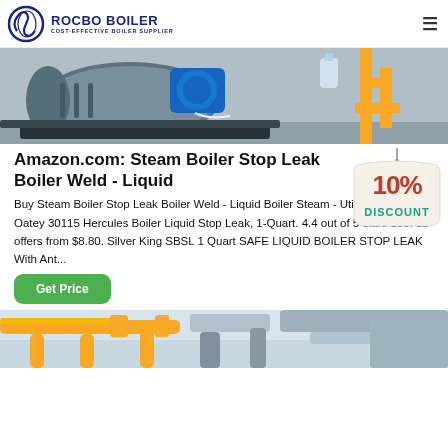ROCBO BOILER - COST-EFFECTIVE BOILER SUPPLIER
[Figure (photo): Industrial steam boiler equipment photo showing a large cylindrical boiler with blue motor/fan assembly and yellow gas pipes in the background]
Amazon.com: Steam Boiler Stop Leak Boiler Weld - Liquid
[Figure (other): 10% DISCOUNT badge/tag graphic in red and teal colors]
Buy Steam Boiler Stop Leak Boiler Weld - Liquid Boiler Steam - Utility 15-1011: Oatey 30115 Hercules Boiler Liquid Stop Leak, 1-Quart. 4.4 out of 5 stars 155. 12 offers from $8.80. Silver King SBSL 1 Quart SAFE LIQUID BOILER STOP LEAK With Ant...
Get Price
[Figure (photo): Industrial yellow pipe and ductwork system photo showing yellow piping and metal ductwork on ceiling]